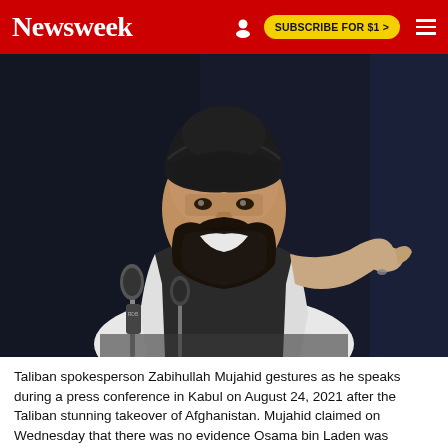Newsweek
[Figure (photo): Taliban spokesperson Zabihullah Mujahid speaking at a press conference in Kabul, wearing a black turban and dark vest, gesturing with his right hand near microphones]
Taliban spokesperson Zabihullah Mujahid gestures as he speaks during a press conference in Kabul on August 24, 2021 after the Taliban stunning takeover of Afghanistan. Mujahid claimed on Wednesday that there was no evidence Osama bin Laden was responsible for the 9/11 attacks.